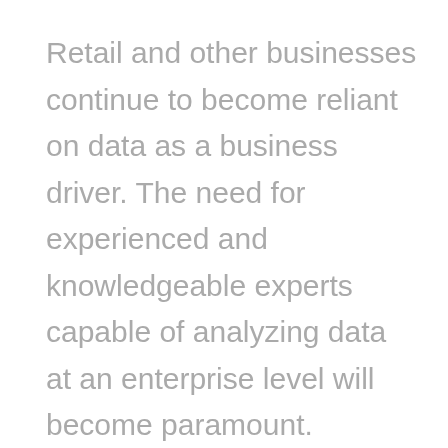Retail and other businesses continue to become reliant on data as a business driver. The need for experienced and knowledgeable experts capable of analyzing data at an enterprise level will become paramount.
Finally, while the idea of creating and maintaining a robust loyalty program and integrating it to your organization's POS system might sound like a fantastic idea.  It does require accepting the added risk and liability of maintaining data security and integrity.  Something that is increasingly challenging with the rise of cybercrime.